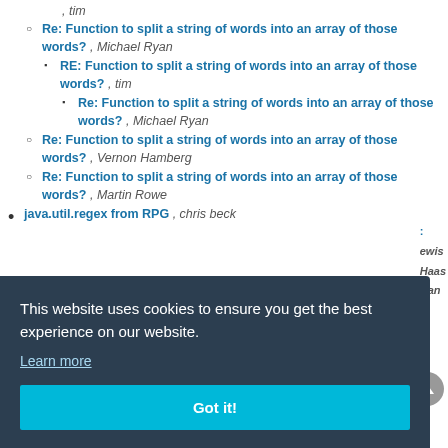, tim
Re: Function to split a string of words into an array of those words? , Michael Ryan
RE: Function to split a string of words into an array of those words? , tim
Re: Function to split a string of words into an array of those words? , Michael Ryan
Re: Function to split a string of words into an array of those words? , Vernon Hamberg
Re: Function to split a string of words into an array of those words? , Martin Rowe
java.util.regex from RPG , chris beck
This website uses cookies to ensure you get the best experience on our website. Learn more Got it!